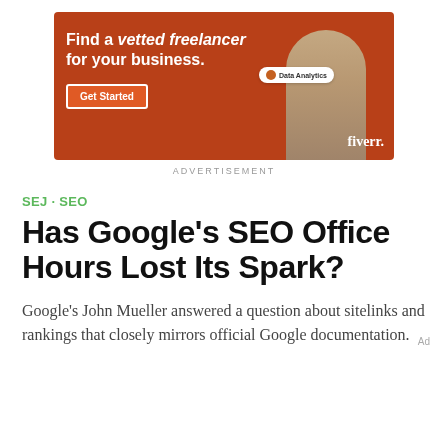[Figure (illustration): Fiverr advertisement banner with burnt orange background, woman in turtleneck, text 'Find a vetted freelancer for your business.' with a Get Started button and Fiverr logo]
ADVERTISEMENT
SEJ · SEO
Has Google's SEO Office Hours Lost Its Spark?
Google's John Mueller answered a question about sitelinks and rankings that closely mirrors official Google documentation.